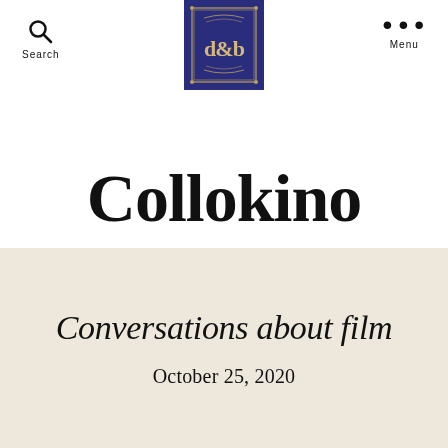Search   [logo]   Menu
[Figure (logo): Dark blue square logo with ornate border and stylized 'd&b' letters in gold, resembling a magazine or publication emblem]
Collokino
Conversations about film
October 25, 2020